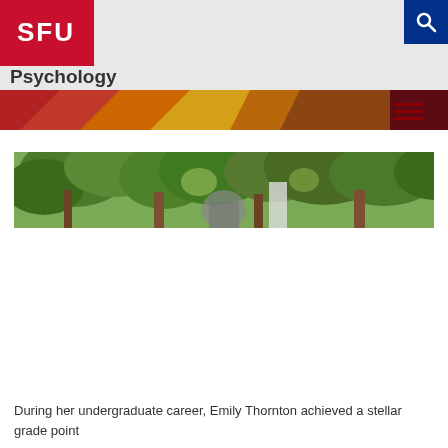[Figure (logo): SFU (Simon Fraser University) logo in red rectangle with white text]
Psychology
[Figure (photo): Navigation bar with colorful geometric shapes (red, orange, yellow, brown, maroon) and hamburger menu icon on the right]
[Figure (photo): Outdoor photo showing trees with green foliage and a person or animal partially visible]
During her undergraduate career, Emily Thornton achieved a stellar grade point